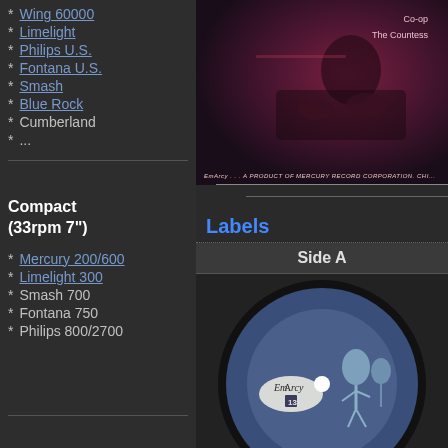* Wing 60000
* Limelight
* Philips U.S.
* Fontana U.S.
* Smash
* Blue Rock
* Cumberland
* ...
Compact (33rpm 7")
* Mercury 200/600
* Limelight 300
* Smash 700
* Fontana 750
* Philips 800/2700
[Figure (photo): Album cover photo showing musician at piano, reddish-purple tint, with text 'Co-op' and 'The Countess' and EmArcy label product text at bottom]
Labels
Side A
[Figure (photo): EmArcy record label, blue vinyl record with EmArcy logo and figure illustration, catalog number EP-1-6107A, with text C. Terry and C. Payne]